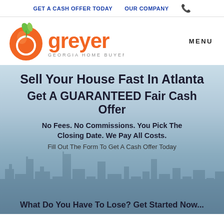GET A CASH OFFER TODAY   OUR COMPANY  📞
[Figure (logo): Greyer Georgia Home Buyers logo — orange peach shape with green leaf and orange 'greyer' wordmark, subtitle 'GEORGIA HOME BUYERS']
Sell Your House Fast In Atlanta
Get A GUARANTEED Fair Cash Offer
No Fees. No Commissions. You Pick The Closing Date. We Pay All Costs.
Fill Out The Form To Get A Cash Offer Today
What Do You Have To Lose? Get Started Now...